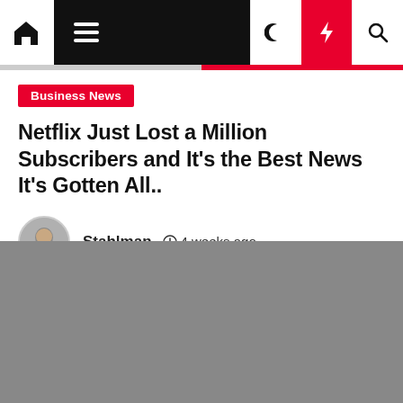Navigation bar with home, menu, dark mode, flash, and search icons
Business News
Netflix Just Lost a Million Subscribers and It's the Best News It's Gotten All..
Stahlman  4 weeks ago
[Figure (photo): Article featured image placeholder (gray rectangle)]